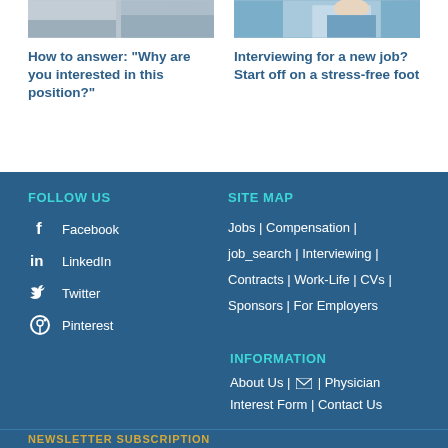[Figure (photo): Cropped photo of two people, mostly cut off at top]
How to answer: “Why are you interested in this position?”
[Figure (photo): Cropped photo of a person in blue medical/professional attire]
Interviewing for a new job? Start off on a stress-free foot
FOLLOW US
Facebook
LinkedIn
Twitter
Pinterest
SITE MAP
Jobs | Compensation | job_search | Interviewing | Contracts | Work-Life | CVs | Sponsors | For Employers
INFORMATION
About Us | ✉ | Physician Interest Form | Contact Us
NEWSLETTER SUBSCRIPTION